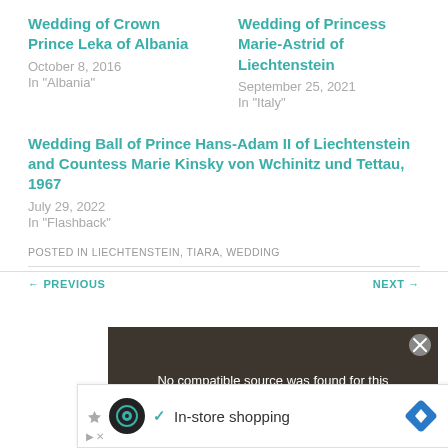Wedding of Crown Prince Leka of Albania
October 8, 2016
In "Albania"
Wedding of Princess Marie-Astrid of Liechtenstein
September 25, 2021
In "Italy"
Wedding Ball of Prince Hans-Adam II of Liechtenstein and Countess Marie Kinsky von Wchinitz und Tettau, 1967
July 29, 2022
In "Flashback"
POSTED IN LIECHTENSTEIN, TIARA, WEDDING
[Figure (screenshot): Video player overlay with message 'No compatible source was found for this media.' overlaid on a dark background with Amharic text and imagery, with a large X close button]
← PREVIOUS
NEXT →
[Figure (infographic): Advertisement bar: In-store shopping with icons]